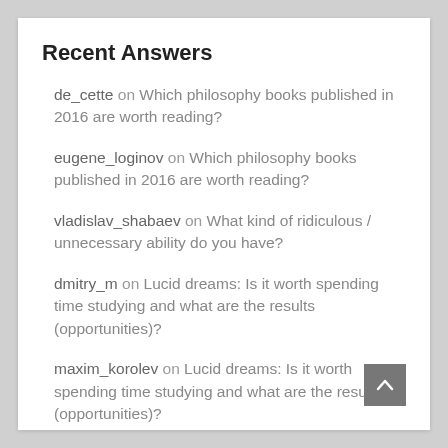Recent Answers
de_cette on Which philosophy books published in 2016 are worth reading?
eugene_loginov on Which philosophy books published in 2016 are worth reading?
vladislav_shabaev on What kind of ridiculous / unnecessary ability do you have?
dmitry_m on Lucid dreams: Is it worth spending time studying and what are the results (opportunities)?
maxim_korolev on Lucid dreams: Is it worth spending time studying and what are the results (opportunities)?